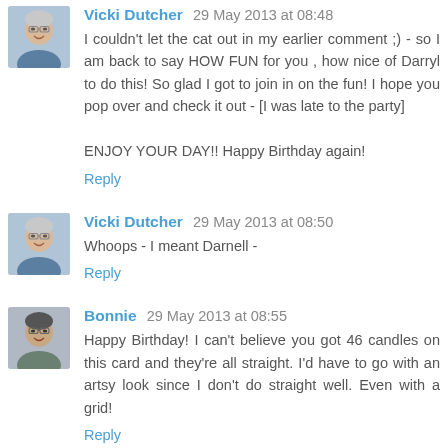[Figure (photo): Avatar photo of Vicki Dutcher, a woman with short light hair and glasses, smiling]
Vicki Dutcher 29 May 2013 at 08:48
I couldn't let the cat out in my earlier comment ;) - so I am back to say HOW FUN for you , how nice of Darryl to do this! So glad I got to join in on the fun! I hope you pop over and check it out - [I was late to the party]

ENJOY YOUR DAY!! Happy Birthday again!
Reply
[Figure (photo): Avatar photo of Vicki Dutcher, same as above]
Vicki Dutcher 29 May 2013 at 08:50
Whoops - I meant Darnell -
Reply
[Figure (photo): Avatar photo of Bonnie, a woman with short dark hair and glasses]
Bonnie 29 May 2013 at 08:55
Happy Birthday! I can't believe you got 46 candles on this card and they're all straight. I'd have to go with an artsy look since I don't do straight well. Even with a grid!
Reply